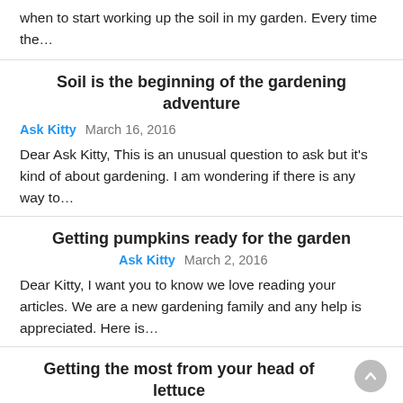when to start working up the soil in my garden. Every time the…
Soil is the beginning of the gardening adventure
Ask Kitty   March 16, 2016
Dear Ask Kitty, This is an unusual question to ask but it's kind of about gardening. I am wondering if there is any way to…
Getting pumpkins ready for the garden
Ask Kitty   March 2, 2016
Dear Kitty, I want you to know we love reading your articles. We are a new gardening family and any help is appreciated. Here is…
Getting the most from your head of lettuce